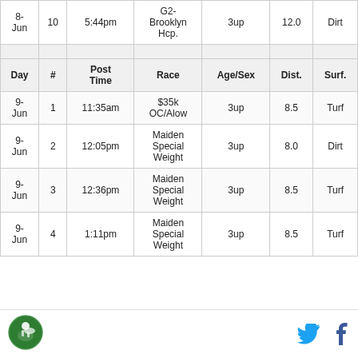| Day | # | Post Time | Race | Age/Sex | Dist. | Surf. |
| --- | --- | --- | --- | --- | --- | --- |
| 8-Jun | 10 | 5:44pm | G2-Brooklyn Hcp. | 3up | 12.0 | Dirt |
|  |  |  |  |  |  |  |
| 9-Jun | 1 | 11:35am | $35k OC/Alow | 3up | 8.5 | Turf |
| 9-Jun | 2 | 12:05pm | Maiden Special Weight | 3up | 8.0 | Dirt |
| 9-Jun | 3 | 12:36pm | Maiden Special Weight | 3up | 8.5 | Turf |
| 9-Jun | 4 | 1:11pm | Maiden Special Weight | 3up | 8.5 | Turf |